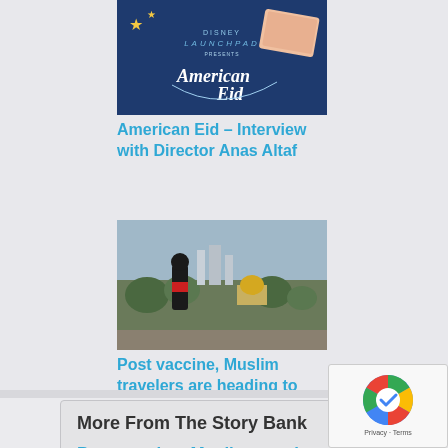[Figure (photo): American Eid promotional image with Disney Launchpad branding, blue background with stars and stylized script text]
American Eid – Interview with Director Anas Altaf
[Figure (photo): Person standing in front of Jerusalem skyline with Dome of the Rock visible]
Post vaccine, Muslim travelers are heading to Israel
More From The Story Bank
Post vaccine, Muslim travelers...